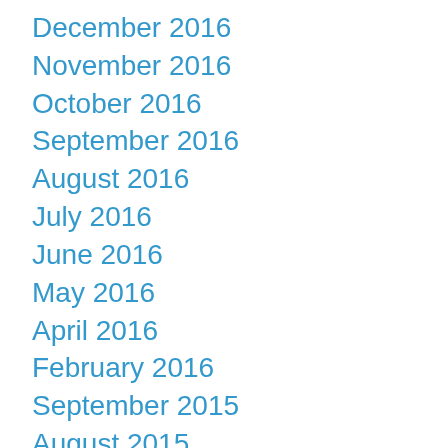December 2016
November 2016
October 2016
September 2016
August 2016
July 2016
June 2016
May 2016
April 2016
February 2016
September 2015
August 2015
July 2015
June 2015
April 2015